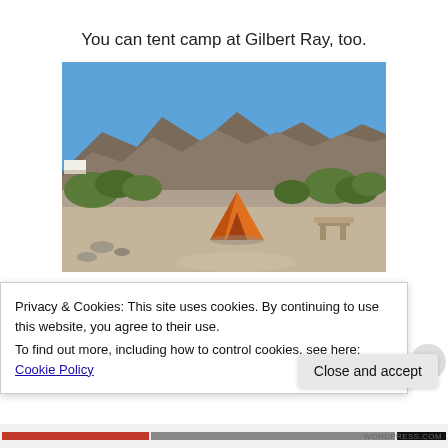You can tent camp at Gilbert Ray, too.
[Figure (photo): Orange tent set up at a desert campsite at Gilbert Ray, with desert scrub, gravel ground, a picnic table, and a mountain ridge under a clear blue sky in the background.]
Privacy & Cookies: This site uses cookies. By continuing to use this website, you agree to their use.
To find out more, including how to control cookies, see here: Cookie Policy
Close and accept